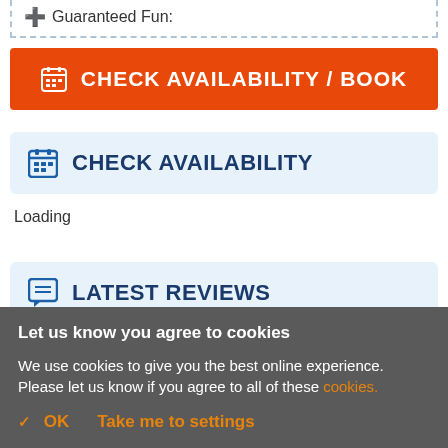Guaranteed Fun:
CHECK AVAILABILITY / BOOK
CHECK AVAILABILITY
Loading
LATEST REVIEWS
Let us know you agree to cookies
We use cookies to give you the best online experience. Please let us know if you agree to all of these cookies.
✓ OK   Take me to settings